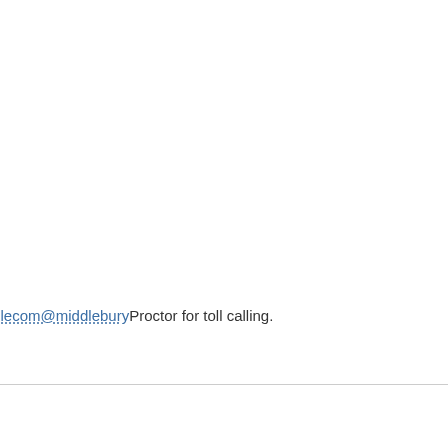On-Campus Calls   Dia
Local Off-campus Calls   Dia
Toll-free Calls   Dia
Toll Calls*   Dia
International Calls   Dia
*Vermont cellular exchanges were reclassified in 2010, per our local exchanges. For numbers in our local exchanges, dial as...
Year-round staff receive two complimentary business calls that begins with... received an email from Tele... email telecom@middlebury... Proctor for toll calling.
Incoming Calls
College telephone extensions c
Telephone Rates